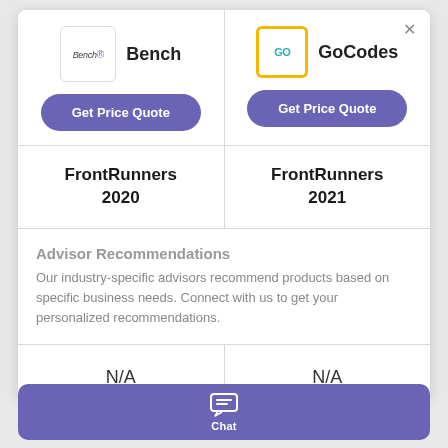[Figure (logo): Bench logo - white box with 'Bench' text and trademark symbol]
Bench
[Figure (logo): GoCodes logo - white box with yellow border and 'GO' in teal text]
GoCodes
Get Price Quote
Get Price Quote
FrontRunners 2020
FrontRunners 2021
Advisor Recommendations
Our industry-specific advisors recommend products based on specific business needs. Connect with us to get your personalized recommendations.
N/A
N/A
Chat